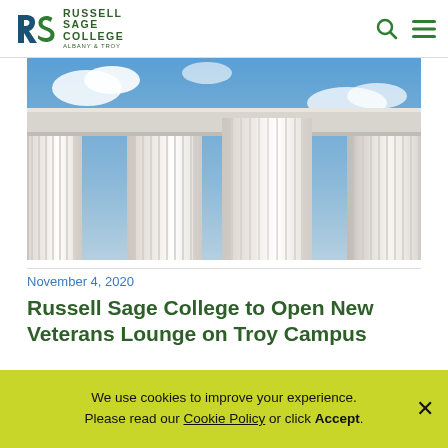Russell Sage College Albany & Troy
[Figure (photo): Looking up at tall white classical columns against a blue sky with clouds, photographed from below]
November 4, 2020
Russell Sage College to Open New Veterans Lounge on Troy Campus
We use cookies to improve your experience. Please read our Cookie Policy or click Accept.